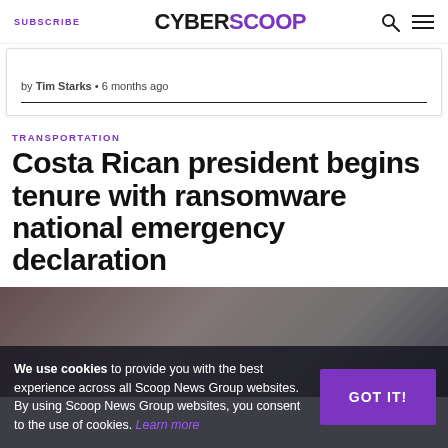SUBSCRIBE | CYBERSCOOP
by Tim Starks • 6 months ago
TRANSPORTATION
Costa Rican president begins tenure with ransomware national emergency declaration
We use cookies to provide you with the best experience across all Scoop News Group websites. By using Scoop News Group websites, you consent to the use of cookies. Learn more